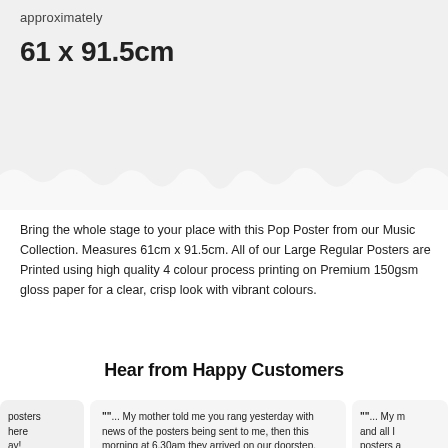approximately
61 x 91.5cm
Bring the whole stage to your place with this Pop Poster from our Music Collection. Measures 61cm x 91.5cm. All of our Large Regular Posters are Printed using high quality 4 colour process printing on Premium 150gsm gloss paper for a clear, crisp look with vibrant colours.
Hear from Happy Customers
posters here ay!
""... My mother told me you rang yesterday with news of the posters being sent to me, then this morning at 6.30am they arrived on our doorstep.
""... My m and all I posters a great pi